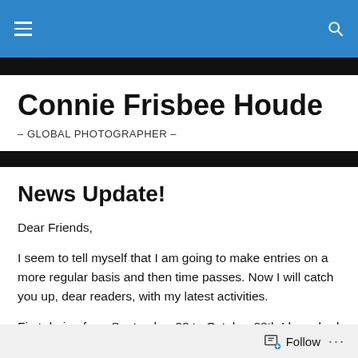Connie Frisbee Houde – GLOBAL PHOTOGRAPHER –
News Update!
Dear Friends,
I seem to tell myself that I am going to make entries on a more regular basis and then time passes. Now I will catch you up, dear readers, with my latest activities.
First during from September 22 to October 28th I have had